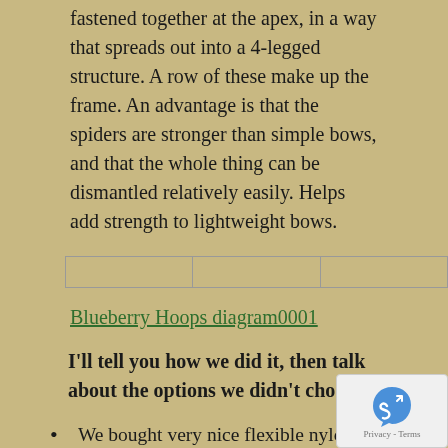fastened together at the apex, in a way that spreads out into a 4-legged structure. A row of these make up the frame. An advantage is that the spiders are stronger than simple bows, and that the whole thing can be dismantled relatively easily. Helps add strength to lightweight bows.
|   |   |   |
Blueberry Hoops diagram0001
I'll tell you how we did it, then talk about the options we didn't choose.
We bought very nice flexible nylon netting from Lee Valley. We chose the 12' x 117' ½"